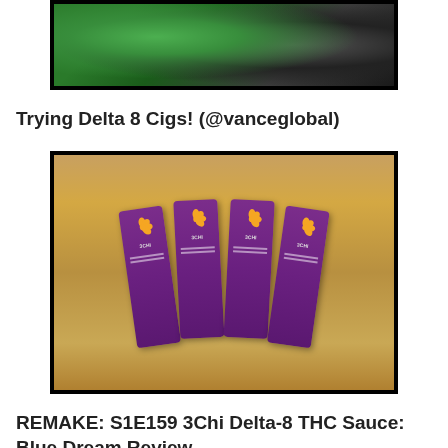[Figure (photo): Thumbnail image of people holding green product cans, partially cropped at top, dark background with green tones]
Trying Delta 8 Cigs! (@vanceglobal)
[Figure (photo): Four purple rectangular 3Chi branded product cards laid flat on a wooden surface]
REMAKE: S1E159 3Chi Delta-8 THC Sauce: Blue Dream Review
[Figure (photo): Colorful thumbnail partially visible at bottom of page with bright colors]